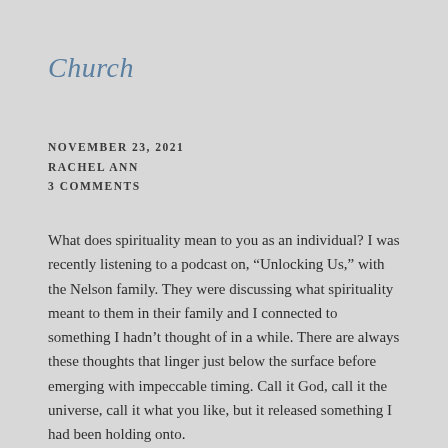Church
NOVEMBER 23, 2021
RACHEL ANN
3 COMMENTS
What does spirituality mean to you as an individual? I was recently listening to a podcast on, “Unlocking Us,” with the Nelson family. They were discussing what spirituality meant to them in their family and I connected to something I hadn’t thought of in a while. There are always these thoughts that linger just below the surface before emerging with impeccable timing. Call it God, call it the universe, call it what you like, but it released something I had been holding onto.